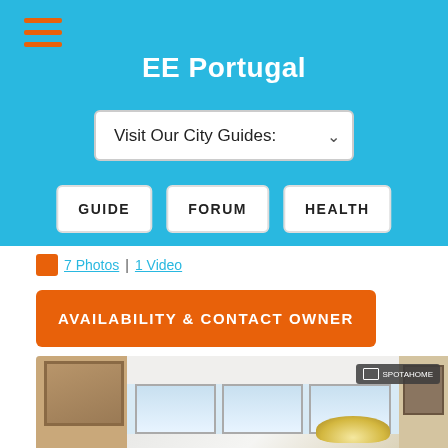EE Portugal
Visit Our City Guides:
GUIDE
FORUM
HEALTH
7 Photos | 1 Video
AVAILABILITY & CONTACT OWNER
[Figure (photo): Interior room photo showing a bright living room with large windows, white curtains, wood-framed mirror on the left wall, and a lamp. Spotahome badge visible in top right corner.]